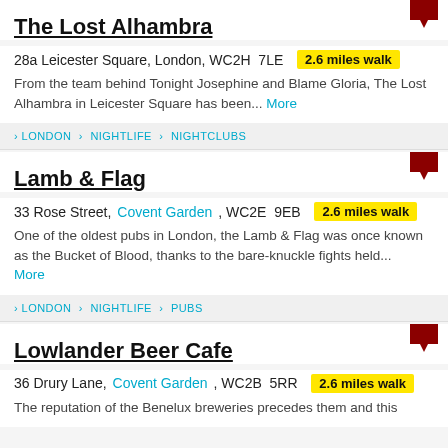The Lost Alhambra
28a Leicester Square, London, WC2H 7LE  2.6 miles walk
From the team behind Tonight Josephine and Blame Gloria, The Lost Alhambra in Leicester Square has been...  More
LONDON > NIGHTLIFE > NIGHTCLUBS
Lamb & Flag
33 Rose Street, Covent Garden, WC2E 9EB  2.6 miles walk
One of the oldest pubs in London, the Lamb & Flag was once known as the Bucket of Blood, thanks to the bare-knuckle fights held...  More
LONDON > NIGHTLIFE > PUBS
Lowlander Beer Cafe
36 Drury Lane, Covent Garden, WC2B 5RR  2.6 miles walk
The reputation of the Benelux breweries precedes them and this